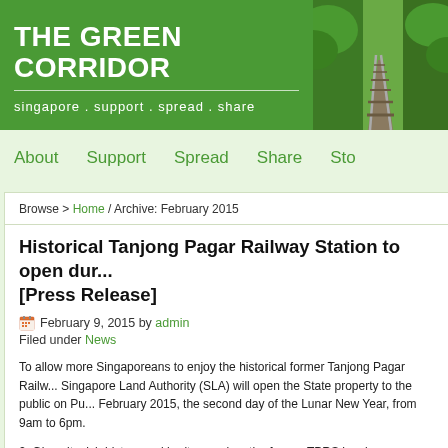THE GREEN CORRIDOR
singapore . support . spread . share
[Figure (photo): Railway tracks through green forest vegetation, photographed from track level looking ahead]
About  Support  Spread  Share  Sto...
Browse > Home / Archive: February 2015
Historical Tanjong Pagar Railway Station to open dur... [Press Release]
February 9, 2015 by admin
Filed under News
To allow more Singaporeans to enjoy the historical former Tanjong Pagar Railw... Singapore Land Authority (SLA) will open the State property to the public on Pu... February 2015, the second day of the Lunar New Year, from 9am to 6pm.
2. Given its rich history and heritage value, the former TPRS has been a popula... ranging from carnivals, pop-up restaurants to high-end fashion shows and proc... organisations have held exclusive events at the former TPRS by applying for a... Occupation Licence from SLA.